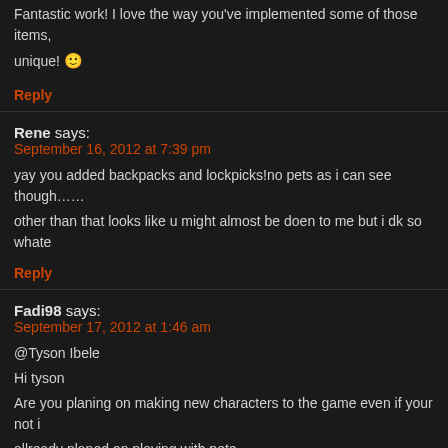Fantastic work! I love the way you've implemented some of those items, unique! 🙂
Reply
Rene says:
September 16, 2012 at 7:39 pm
yay you added backpacks and lockpicks!no pets as i can see though…… other than that looks like u might almost be doen to me but i dk so whate
Reply
Fadi98 says:
September 17, 2012 at 1:46 am
@Tyson Ibele
Hi tyson
Are you planing on making new characters to the game even if your not i allready planed on playing with pete
also please reply to the other comment 🙂
Reply
Tyson Ibele says:
September 17, 2012 at 4:29 pm
Hey guys! Thanks for all the positive feedback!